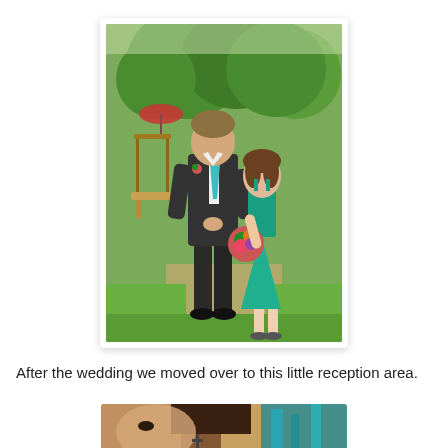[Figure (photo): A man in a dark suit with a teal tie and boutonniere walks arm-in-arm with a young girl wearing a teal/green halter dress and holding a bouquet of flowers. They are walking on a path outdoors with green trees and grass in the background. The photo has a white border and slight shadow.]
After the wedding we moved over to this little reception area.
[Figure (photo): Partial photo showing close-up faces of people, partially cut off at the bottom of the page, with teal/green ambient lighting visible on the right.]